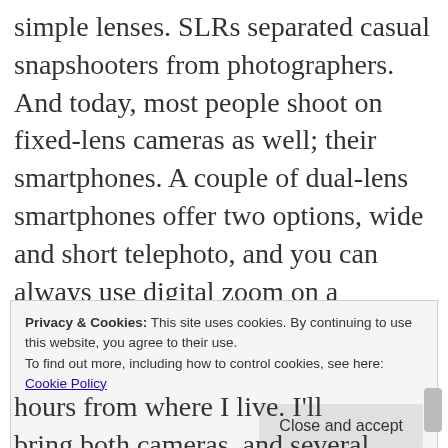simple lenses. SLRs separated casual snapshooters from photographers. And today, most people shoot on fixed-lens cameras as well; their smartphones. A couple of dual-lens smartphones offer two options, wide and short telephoto, and you can always use digital zoom on a smartphone (though most people probably don't know how to do this), but the majority of people zoom with their feet.
Privacy & Cookies: This site uses cookies. By continuing to use this website, you agree to their use. To find out more, including how to control cookies, see here: Cookie Policy
hours from where I live. I'll bring both cameras, and several lenses, so I can get close-